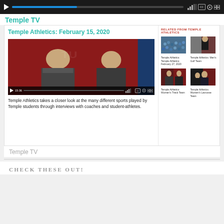[Figure (screenshot): Video player control bar showing play button, progress bar, and icons on dark background]
Temple TV
[Figure (screenshot): Main article card with title 'Temple Athletics: February 15, 2020', embedded video thumbnail of two women in athletic jackets, and related sidebar thumbnails]
Temple Athletics takes a closer look at the many different sports played by Temple students through interviews with coaches and student-athletes.
Temple TV
CHECK THESE OUT!